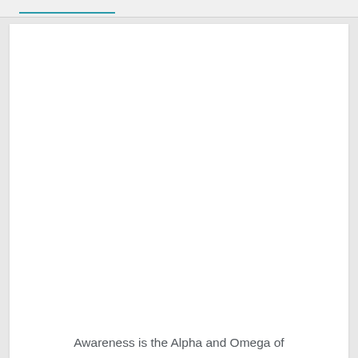Awareness is the Alpha and Omega of